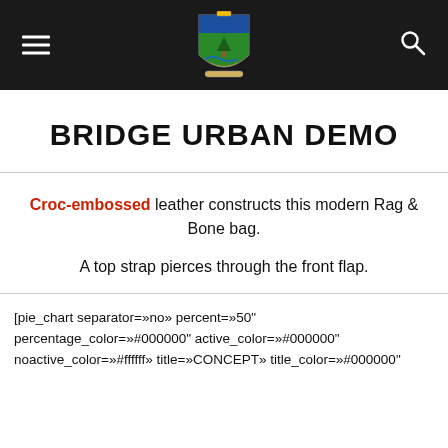BRIDGE URBAN DEMO — navigation header with hamburger menu, coat of arms logo, and search icon
BRIDGE URBAN DEMO
Croc-embossed leather constructs this modern Rag & Bone bag.
A top strap pierces through the front flap.
[pie_chart separator=»no» percent=»50" percentage_color=»#000000" active_color=»#000000" noactive_color=»#ffffff» title=»CONCEPT» title_color=»#000000"